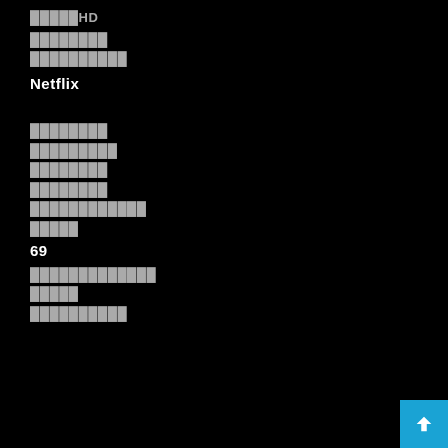█████HD
████████
██████████
Netflix
████████
█████████
████████
████████
████████████
█████
69
█████████████
█████
██████████